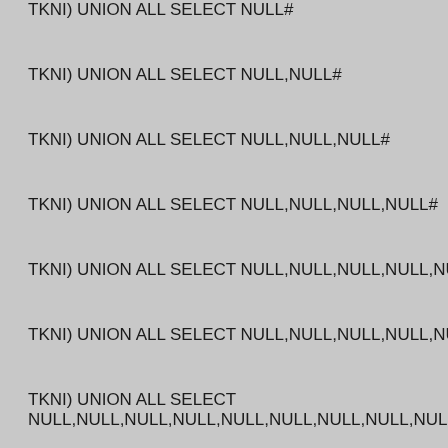TKNI) UNION ALL SELECT NULL#
TKNI) UNION ALL SELECT NULL,NULL#
TKNI) UNION ALL SELECT NULL,NULL,NULL#
TKNI) UNION ALL SELECT NULL,NULL,NULL,NULL#
TKNI) UNION ALL SELECT NULL,NULL,NULL,NULL,NULL#
TKNI) UNION ALL SELECT NULL,NULL,NULL,NULL,NULL,NULL#
TKNI) UNION ALL SELECT NULL,NULL,NULL,NULL,NULL,NULL,N
TKNI) UNION ALL SELECT NULL,NULL,NULL,NULL,NULL,NULL,N
TKNI) UNION ALL SELECT NULL,NULL,NULL,NULL,NULL,NULL,N
TKNI) UNION ALL SELECT NULL,NULL,NULL,NULL,NULL,NULL,N
TKNI) UNION ALL SELECT NULL,NULL,NULL,NULL,NULL,NULL,N
TKNI) UNION ALL SELECT NULL,NULL,NULL,NULL,NULL,NULL,N
TKNI) UNION ALL SELECT NULL,NULL,NULL,NULL,NULL,NULL,NULL,NULL,NULL,NULL,NUL